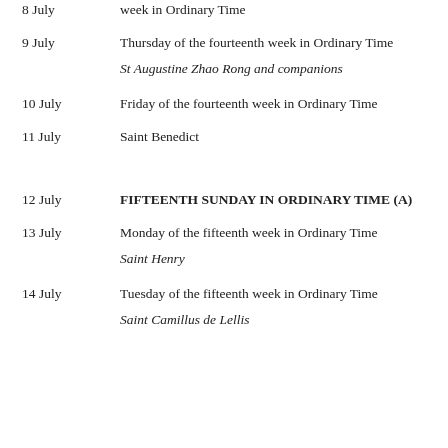8 July — week in Ordinary Time
9 July — Thursday of the fourteenth week in Ordinary Time
St Augustine Zhao Rong and companions
10 July — Friday of the fourteenth week in Ordinary Time
11 July — Saint Benedict
12 July — FIFTEENTH SUNDAY IN ORDINARY TIME (A)
13 July — Monday of the fifteenth week in Ordinary Time
Saint Henry
14 July — Tuesday of the fifteenth week in Ordinary Time
Saint Camillus de Lellis